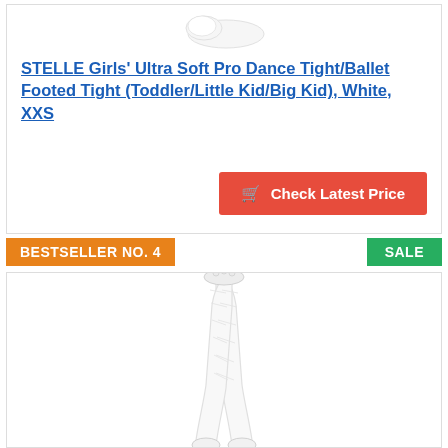[Figure (photo): White ballet shoe/tight product image at top, partially visible]
STELLE Girls' Ultra Soft Pro Dance Tight/Ballet Footed Tight (Toddler/Little Kid/Big Kid), White, XXS
[Figure (logo): Amazon Prime logo with checkmark and italic Prime text]
Check Latest Price
BESTSELLER NO. 4
SALE
[Figure (photo): White footed tights/ballet tights product image]